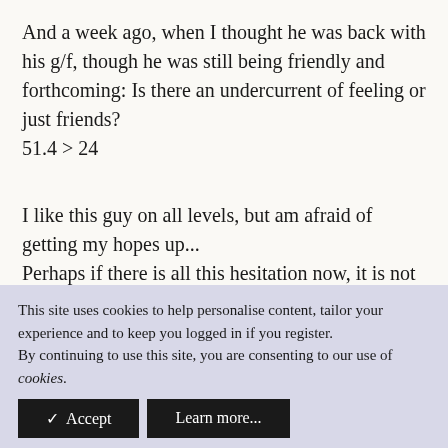And a week ago, when I thought he was back with his g/f, though he was still being friendly and forthcoming: Is there an undercurrent of feeling or just friends? 51.4 > 24
I like this guy on all levels, but am afraid of getting my hopes up...
Perhaps if there is all this hesitation now, it is not meant to be... ?
I won't see him again until Sat, so it will probs
This site uses cookies to help personalise content, tailor your experience and to keep you logged in if you register.
By continuing to use this site, you are consenting to our use of cookies.
✓ Accept
Learn more...